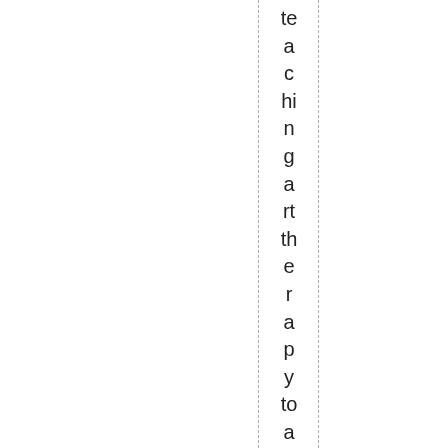teaching art therapy to a paranoid, a fo